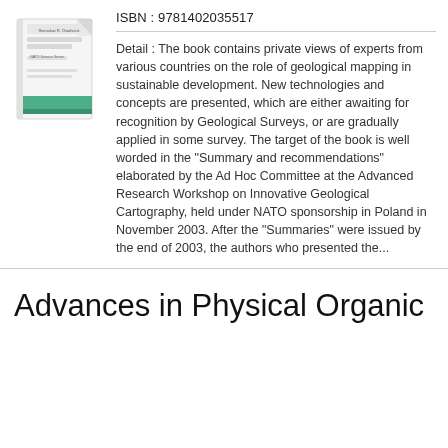[Figure (illustration): Book cover thumbnail showing a white and green book with text 'Stanislaw R. Ostaficiuk' and 'NATO Science Series' visible, with a diagonal page curl effect]
ISBN : 9781402035517
Detail : The book contains private views of experts from various countries on the role of geological mapping in sustainable development. New technologies and concepts are presented, which are either awaiting for recognition by Geological Surveys, or are gradually applied in some survey. The target of the book is well worded in the "Summary and recommendations" elaborated by the Ad Hoc Committee at the Advanced Research Workshop on Innovative Geological Cartography, held under NATO sponsorship in Poland in November 2003. After the "Summaries" were issued by the end of 2003, the authors who presented the...
Advances in Physical Organic